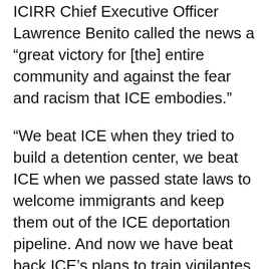ICIRR Chief Executive Officer Lawrence Benito called the news a “great victory for [the] entire community and against the fear and racism that ICE embodies.”
“We beat ICE when they tried to build a detention center, we beat ICE when we passed state laws to welcome immigrants and keep them out of the ICE deportation pipeline. And now we have beat back ICE’s plans to train vigilantes in our backyard,” Benito said.
The program was introduced at a time when protests have swept the nation calling on cities to defund police and abolish ICE. Those demands have intensified following threats, deportations and immigration bans from President Donald